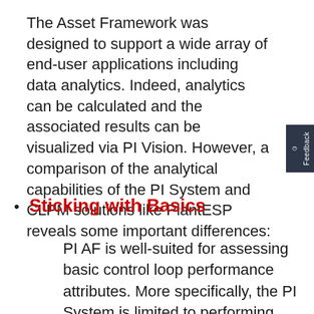The Asset Framework was designed to support a wide array of end-user applications including data analytics. Indeed, analytics can be calculated and the associated results can be visualized via PI Vision. However, a comparison of the analytical capabilities of the PI System and CLPM solutions like PlantESP reveals some important differences:
Sticking with Basics
PI AF is well-suited for assessing basic control loop performance attributes. More specifically, the PI System is limited to performing simple, arithmetic